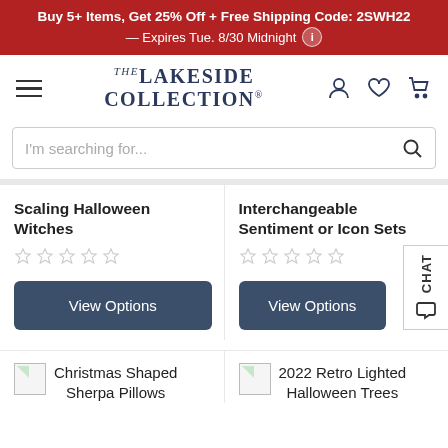Buy 5+ Items, Get 25% Off + Free Shipping Code: 2SWH22 — Expires Tue. 8/30 Midnight
[Figure (logo): The Lakeside Collection logo with hamburger menu, user icon, heart icon, and cart icon]
I'm searching for...
Scaling Halloween Witches
Interchangeable Sentiment or Icon Sets
View Options
View Options
Christmas Shaped Sherpa Pillows
2022 Retro Lighted Halloween Trees